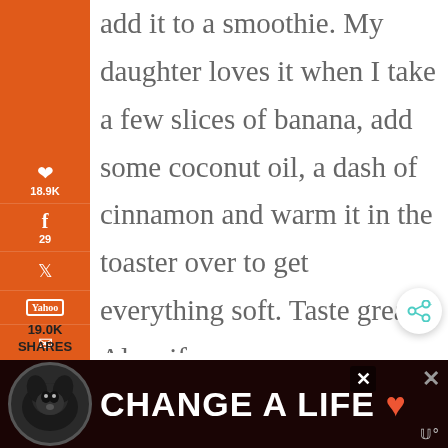add it to a smoothie. My daughter loves it when I take a few slices of banana, add some coconut oil, a dash of cinnamon and warm it in the toaster over to get everything soft. Taste great! Also, if you are breastfeeding, you can consume it and some will
[Figure (infographic): Orange sidebar with social share buttons: Pinterest (18.9K), Facebook (29), Twitter, Yahoo, Email, Print icons. Total shares 19.0K shown below sidebar.]
[Figure (infographic): Advertisement banner at bottom: black background with dog image and 'CHANGE A LIFE' text in red/white, with close buttons.]